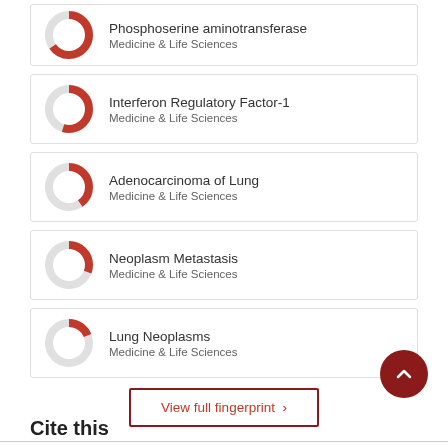Phosphoserine aminotransferase — Medicine & Life Sciences
Interferon Regulatory Factor-1 — Medicine & Life Sciences
Adenocarcinoma of Lung — Medicine & Life Sciences
Neoplasm Metastasis — Medicine & Life Sciences
Lung Neoplasms — Medicine & Life Sciences
View full fingerprint >
Cite this